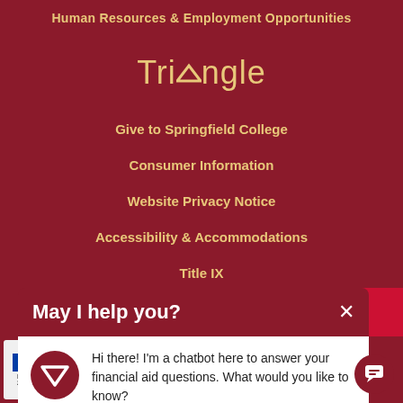Human Resources & Employment Opportunities
Triangle
Give to Springfield College
Consumer Information
Website Privacy Notice
Accessibility & Accommodations
Title IX
May I help you?
Hi there! I'm a chatbot here to answer your financial aid questions. What would you like to know?